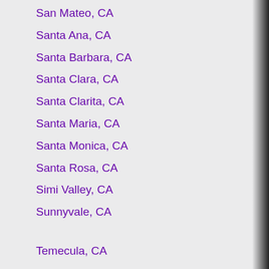San Mateo, CA
Santa Ana, CA
Santa Barbara, CA
Santa Clara, CA
Santa Clarita, CA
Santa Maria, CA
Santa Monica, CA
Santa Rosa, CA
Simi Valley, CA
Sunnyvale, CA
Temecula, CA
Thousand Oaks, CA
Torrance, CA
Vallejo, CA